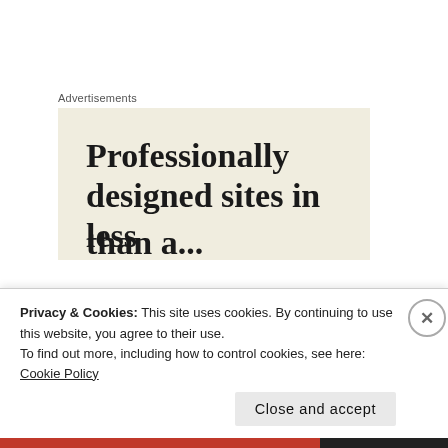Advertisements
[Figure (screenshot): Advertisement banner with cream/beige background showing text 'Professionally designed sites in less' with remaining text cut off at the bottom.]
And our first glimpse of the school lives up to expectations:
Privacy & Cookies: This site uses cookies. By continuing to use this website, you agree to their use.
To find out more, including how to control cookies, see here: Cookie Policy
Close and accept